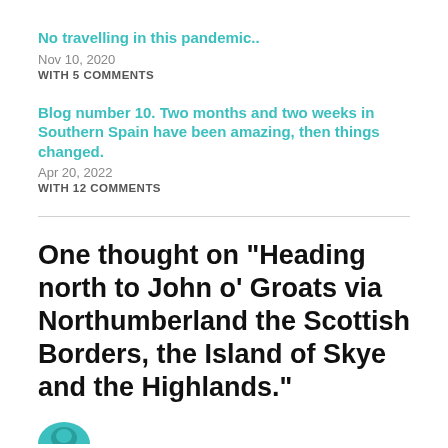No travelling in this pandemic..
Nov 10, 2020
WITH 5 COMMENTS
Blog number 10. Two months and two weeks in Southern Spain have been amazing, then things changed.
Apr 20, 2022
WITH 12 COMMENTS
One thought on “Heading north to John o’ Groats via Northumberland the Scottish Borders, the Island of Skye and the Highlands.”
[Figure (illustration): Partial view of a circular avatar/logo icon in teal/mint color at the bottom of the page]